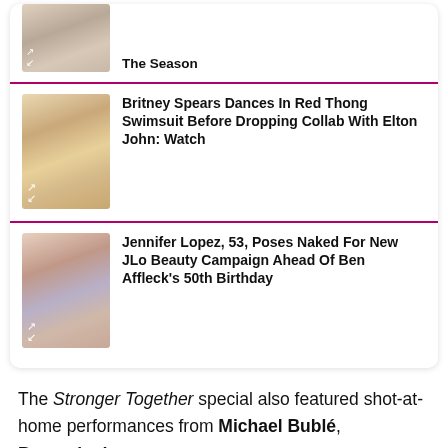[Figure (photo): Thumbnail image (partial, top) related to 'The Season' article]
The Season
[Figure (photo): Thumbnail photo of Britney Spears]
Britney Spears Dances In Red Thong Swimsuit Before Dropping Collab With Elton John: Watch
[Figure (photo): Thumbnail photo of Jennifer Lopez]
Jennifer Lopez, 53, Poses Naked For New JLo Beauty Campaign Ahead Of Ben Affleck's 50th Birthday
The Stronger Together special also featured shot-at-home performances from Michael Bublé, Barenaked